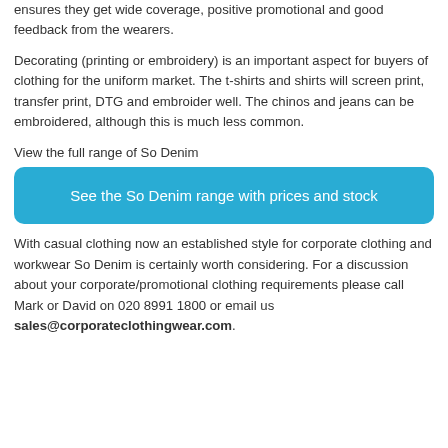ensures they get wide coverage, positive promotional and good feedback from the wearers.
Decorating (printing or embroidery) is an important aspect for buyers of clothing for the uniform market. The t-shirts and shirts will screen print, transfer print, DTG and embroider well. The chinos and jeans can be embroidered, although this is much less common.
View the full range of So Denim
[Figure (other): Blue rounded rectangle button with white text: See the So Denim range with prices and stock]
With casual clothing now an established style for corporate clothing and workwear So Denim is certainly worth considering. For a discussion about your corporate/promotional clothing requirements please call Mark or David on 020 8991 1800 or email us sales@corporateclothingwear.com.